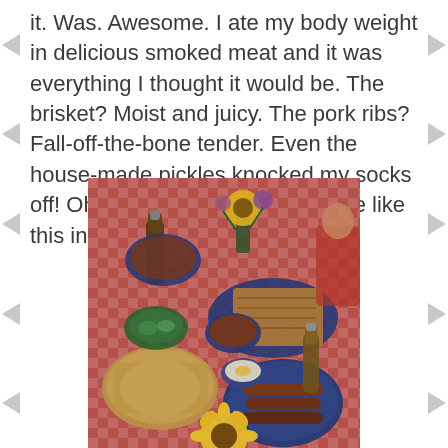it. Was. Awesome. I ate my body weight in delicious smoked meat and it was everything I thought it would be. The brisket? Moist and juicy. The pork ribs? Fall-off-the-bone tender. Even the house-made pickles knocked my socks off! Oh, if only there was barbeque like this in Northern VA!
[Figure (photo): Overhead view of a barbeque feast on a red and white checkered tablecloth, with plates of smoked meats, sides including mac and cheese, pickles, deviled eggs, beer bottles, sauce bowls, and sunflowers as decoration.]